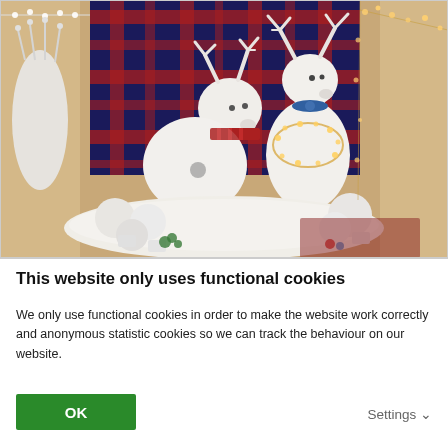[Figure (photo): Christmas window display with two white reindeer decorations adorned with scarves and fairy lights, surrounded by white fluffy balls/ornaments on a white fur surface. Dark tartan/plaid fabric in the background along with string lights.]
This website only uses functional cookies
We only use functional cookies in order to make the website work correctly and anonymous statistic cookies so we can track the behaviour on our website.